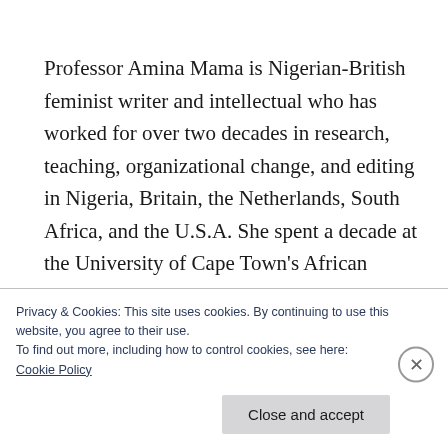Professor Amina Mama is Nigerian-British feminist writer and intellectual who has worked for over two decades in research, teaching, organizational change, and editing in Nigeria, Britain, the Netherlands, South Africa, and the U.S.A. She spent a decade at the University of Cape Town's African Gender Institute where she led the collaborative development of feminist studies and research
Privacy & Cookies: This site uses cookies. By continuing to use this website, you agree to their use.
To find out more, including how to control cookies, see here:
Cookie Policy
Close and accept